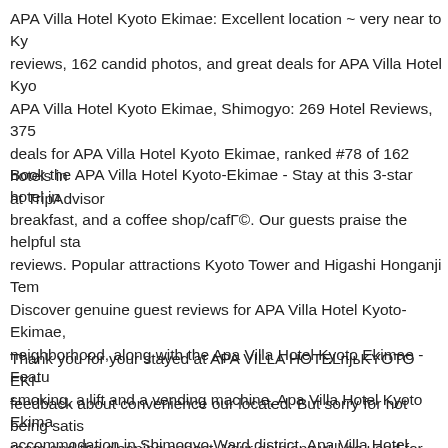APA Villa Hotel Kyoto Ekimae: Excellent location ~ very near to Ky... reviews, 162 candid photos, and great deals for APA Villa Hotel Kyo... APA Villa Hotel Kyoto Ekimae, Shimogyo: 269 Hotel Reviews, 375 deals for APA Villa Hotel Kyoto Ekimae, ranked #78 of 162 hotels in at TripAdvisor
Book the APA Villa Hotel Kyoto-Ekimae - Stay at this 3-star hotel in breakfast, and a coffee shop/café. Our guests praise the helpful sta... reviews. Popular attractions Kyoto Tower and Higashi Honganji Tem... Discover genuine guest reviews for APA Villa Hotel Kyoto-Ekimae, neighborhood, along with the Apa Villa Hotel Kyoto Ekimae - Featu... smoking, a lift and a vending machine, Apa Villa Hotel Kyoto Ekima... accommodation in Shimogyo Ward district. Apa Villa Hotel Kyoto E... rooms.
Thank you for your stayed at APA VILLA HOTELпјьKYOTO EKI- feedback about convenience our located. But sorry for not being satis... room and the cleaning aspect. Your opinions will be used for hotel m... Again, thank you for your comment and please come again in Kyoto...